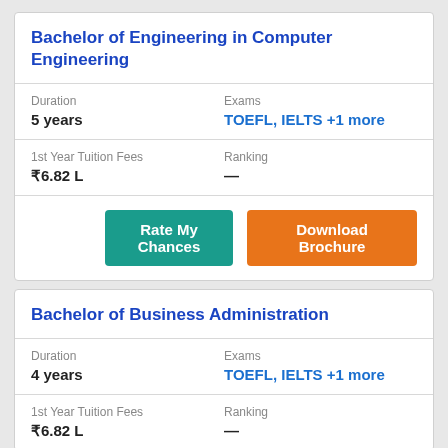Bachelor of Engineering in Computer Engineering
Duration: 5 years
Exams: TOEFL, IELTS +1 more
1st Year Tuition Fees: ₹6.82 L
Ranking: —
Rate My Chances | Download Brochure
Bachelor of Business Administration
Duration: 4 years
Exams: TOEFL, IELTS +1 more
1st Year Tuition Fees: ₹6.82 L
Ranking: —